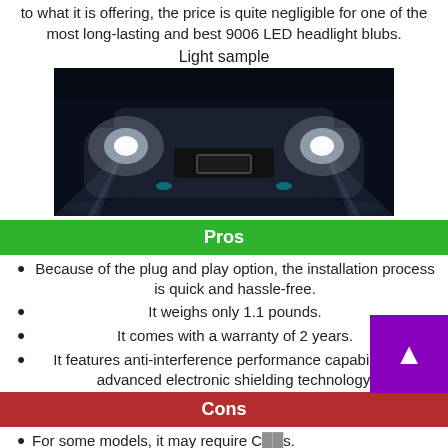to what it is offering, the price is quite negligible for one of the most long-lasting and best 9006 LED headlight blubs.
Light sample
[Figure (photo): Front view of a car with bright LED headlights illuminated at night, showing two white glowing headlights and a license plate area in the center.]
Pros
Because of the plug and play option, the installation process is quick and hassle-free.
It weighs only 1.1 pounds.
It comes with a warranty of 2 years.
It features anti-interference performance capability and advanced electronic shielding technology.
Cons
For some models, it may require C...s.
5.LASFIT 9006/HB4 LED Headlight Kits